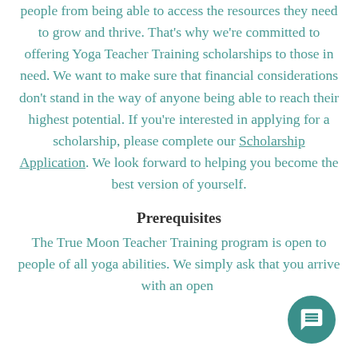people from being able to access the resources they need to grow and thrive. That's why we're committed to offering Yoga Teacher Training scholarships to those in need. We want to make sure that financial considerations don't stand in the way of anyone being able to reach their highest potential. If you're interested in applying for a scholarship, please complete our Scholarship Application. We look forward to helping you become the best version of yourself.
Prerequisites
The True Moon Teacher Training program is open to people of all yoga abilities. We simply ask that you arrive with an open...